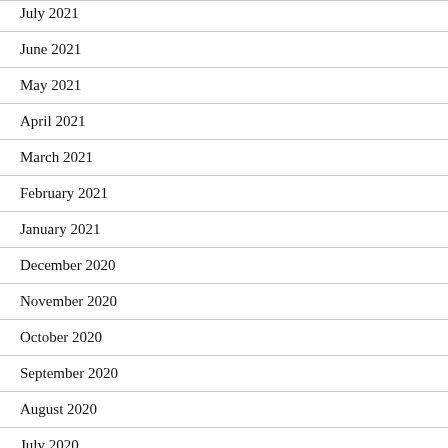July 2021
June 2021
May 2021
April 2021
March 2021
February 2021
January 2021
December 2020
November 2020
October 2020
September 2020
August 2020
July 2020
June 2020